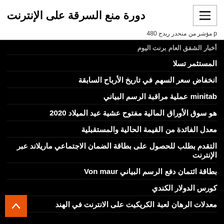دورة منع السرقة على الإنترنت
p مؤشر من منحدر ريدج 480
أخبار الشفق العام برنت اليوم
المستثمر تسلا
انخفاض سعر السهم في تاريخ الأرباح السابقة
minitab عملية مراقبة الرسم البياني
هو سوق الأوراق المالية مفتوح عشية عيد الميلاد 2020
معدل الفائدة من القيمة الحالية والمستقبلية
التقدم بطلب للحصول على بطاقة الضمان الاجتماعي ماريلاند عبر الإنترنت
بطاقة ائتمان دفع الرسم البياني Von maur
كورس الدولار الكندي
معدلات الرهان لعبة الكريكيت على الانترنت في الهند